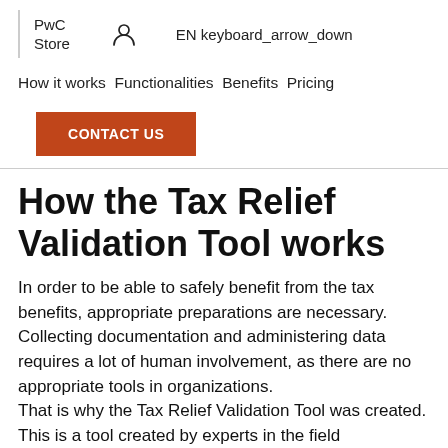PwC Store  [account icon]  EN keyboard_arrow_down
How it works  Functionalities  Benefits  Pricing
CONTACT US
How the Tax Relief Validation Tool works
In order to be able to safely benefit from the tax benefits, appropriate preparations are necessary. Collecting documentation and administering data requires a lot of human involvement, as there are no appropriate tools in organizations.
That is why the Tax Relief Validation Tool was created. This is a tool created by experts in the field